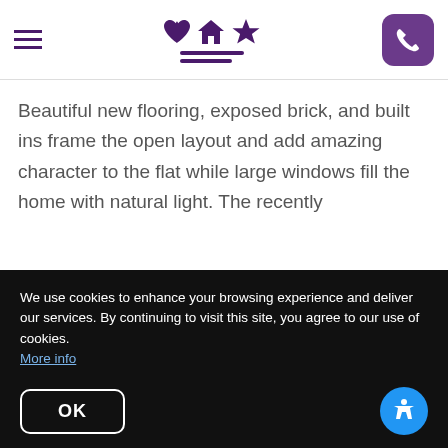Navigation header with hamburger menu, logo with heart/house/star icons and horizontal lines, and phone button
Beautiful new flooring, exposed brick, and built ins frame the open layout and add amazing character to the flat while large windows fill the home with natural light. The recently
Read More
Schedule a Showing
We use cookies to enhance your browsing experience and deliver our services. By continuing to visit this site, you agree to our use of cookies. More info
OK